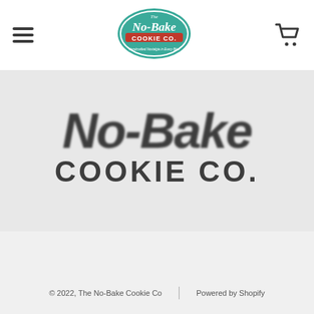Navigation bar with hamburger menu, No-Bake Cookie Co. logo, and cart icon
[Figure (logo): No-Bake Cookie Co. large brand logo text displayed as hero image with blurred italic 'No-Bake' on top and 'COOKIE CO.' below, plus accessibility button in bottom right corner]
© 2022, The No-Bake Cookie Co  |  Powered by Shopify